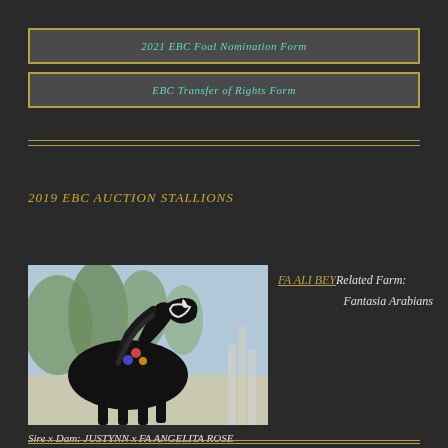2021 EBC Foal Nomination Form
EBC Transfer of Rights Form
2019 EBC AUCTION STALLIONS
[Figure (photo): Black Arabian stallion horse in show pose outdoors, wearing decorative halter with colorful ornaments]
FA ALI BEY Related Farm: Fantasia Arabians
Sire x Dam: JUSTYNN x FA ANGELITA ROSE